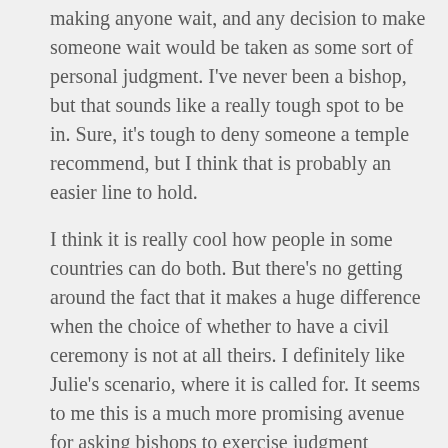making anyone wait, and any decision to make someone wait would be taken as some sort of personal judgment. I've never been a bishop, but that sounds like a really tough spot to be in. Sure, it's tough to deny someone a temple recommend, but I think that is probably an easier line to hold.
I think it is really cool how people in some countries can do both. But there's no getting around the fact that it makes a huge difference when the choice of whether to have a civil ceremony is not at all theirs. I definitely like Julie's scenario, where it is called for. It seems to me this is a much more promising avenue for asking bishops to exercise judgment tailored to the needs of the individuals in question than the other.
“Trust the Saints”